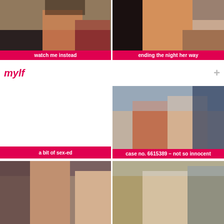[Figure (photo): Two women and a man in a cafe/restaurant scene]
watch me instead
[Figure (photo): Woman in leopard print top on bed]
ending the night her way
mylf
[Figure (photo): Blank/empty left thumbnail]
[Figure (photo): Two women and a man in an office classroom setting]
a bit of sex-ed
case no. 6615389 – not so innocent
[Figure (photo): Bottom left partial thumbnail]
[Figure (photo): Bottom right partial thumbnail - woman with glasses]